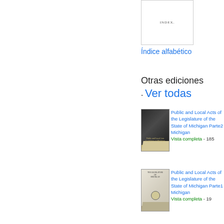[Figure (illustration): Book thumbnail showing an index page with the word INDEX visible]
Índice alfabético
Otras ediciones - Ver todas
[Figure (photo): Book cover thumbnail - dark colored book for Public and Local Acts of the Legislature of the State of Michigan, Parte2]
Public and Local Acts of the Legislature of the State of Michigan Parte2 Michigan Vista completa - 185...
[Figure (photo): Book cover thumbnail - light colored book for Public and Local Acts of the Legislature of the State of Michigan, Parte1]
Public and Local Acts of the Legislature of the State of Michigan Parte1 Michigan Vista completa - 19...